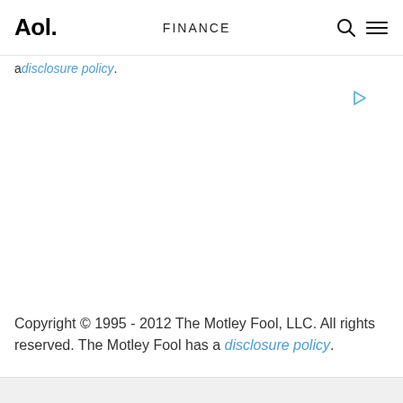Aol. FINANCE
a disclosure policy.
Copyright © 1995 - 2012 The Motley Fool, LLC. All rights reserved. The Motley Fool has a disclosure policy.